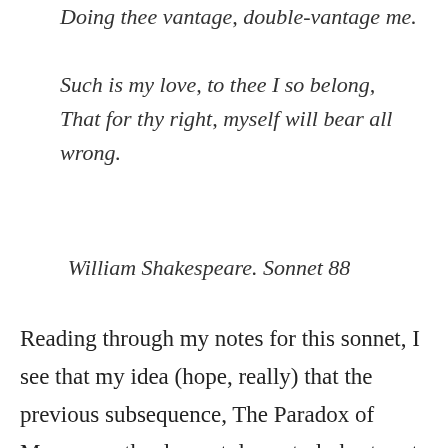Doing thee vantage, double-vantage me.

Such is my love, to thee I so belong,
That for thy right, myself will bear all wrong.
William Shakespeare. Sonnet 88
Reading through my notes for this sonnet, I see that my idea (hope, really) that the previous subsequence, The Paradox of Muse, was the deepest, lowest, darkest part of this journey was